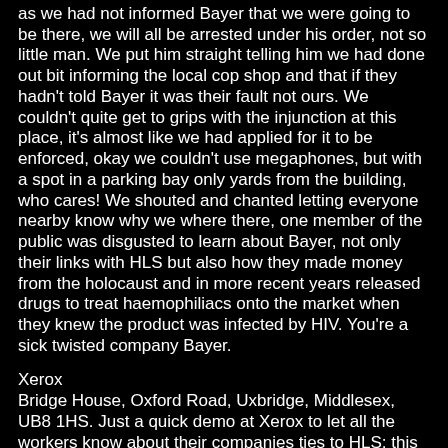as we had not informed Bayer that we were going to be there, we will all be arrested under his order, not so little man. We put him straight telling him we had done out bit informing the local cop shop and that if they hadn't told Bayer it was their fault not ours. We couldn't quite get to grips with the injunction at this place, it's almost like we had applied for it to be enforced, okay we couldn't use megaphones, but with a spot in a parking bay only yards from the building, who cares! We shouted and chanted letting everyone nearby know why we where there, one member of the public was disgusted to learn about Bayer, not only their links with HLS but also how they made money from the holocaust and in more recent years released drugs to treat haemophiliacs onto the market when they knew the product was infected by HIV. You're a sick twisted company Bayer.
Xerox
Bridge House, Oxford Road, Uxbridge, Middlesex, UB8 1HS. Just a quick demo at Xerox to let all the workers know about their companies ties to HLS; this was made so much easier as all the workers swarmed over the road to the pub walking right past us. We stayed for a bit letting everyone driving past know just what happens at HLS and how Xerox think it's acceptable to make money out of the pain and misery inside HLS.